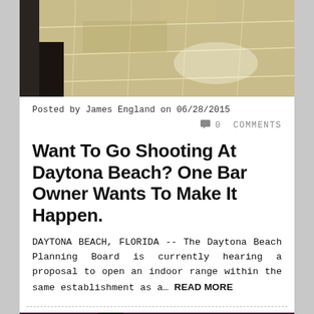[Figure (photo): Top portion of a photo showing a light-colored tiled or stone floor surface with grid lines]
Posted by James England on 06/28/2015
0 COMMENTS
Want To Go Shooting At Daytona Beach? One Bar Owner Wants To Make It Happen.
DAYTONA BEACH, FLORIDA -- The Daytona Beach Planning Board is currently hearing a proposal to open an indoor range within the same establishment as a... READ MORE
[Figure (photo): Bottom photo showing a building exterior at night with purple/pink lighting and silhouetted trees]